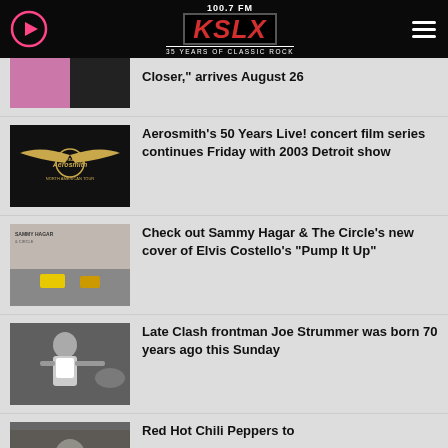[Figure (screenshot): KSLX 100.7 FM radio station header with play button, logo, and hamburger menu]
[Figure (photo): Partial thumbnail of music-related image]
Closer," arrives August 26
[Figure (photo): Aerosmith 50 Years gold winged logo on black background]
Aerosmith's 50 Years Live! concert film series continues Friday with 2003 Detroit show
[Figure (photo): Sammy Hagar & The Circle album cover - city street scene]
Check out Sammy Hagar & The Circle's new cover of Elvis Costello's "Pump It Up"
[Figure (photo): Joe Strummer performing on stage with guitar]
Late Clash frontman Joe Strummer was born 70 years ago this Sunday
[Figure (photo): Red Hot Chili Peppers partial thumbnail]
Red Hot Chili Peppers to